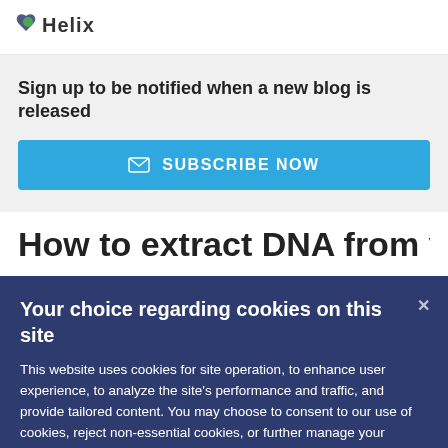[Figure (logo): Helix logo with heart/leaf icon and stylized text]
Sign up to be notified when a new blog is released
SUBSCRIBE NOW
How to extract DNA from your
Your choice regarding cookies on this site
This website uses cookies for site operation, to enhance user experience, to analyze the site's performance and traffic, and provide tailored content. You may choose to consent to our use of cookies, reject non-essential cookies, or further manage your preferences by clicking "Cookie Preferences".